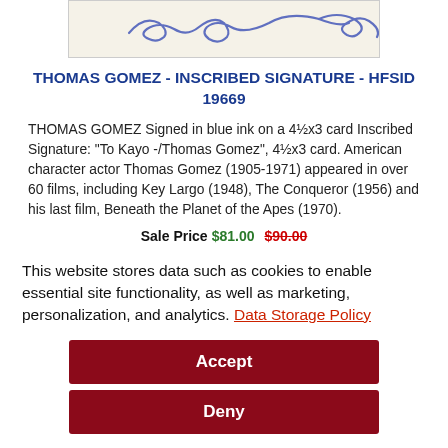[Figure (illustration): Handwritten signature in blue ink on a cream/off-white card background]
THOMAS GOMEZ - INSCRIBED SIGNATURE - HFSID 19669
THOMAS GOMEZ Signed in blue ink on a 4½x3 card Inscribed Signature: "To Kayo -/Thomas Gomez", 4½x3 card. American character actor Thomas Gomez (1905-1971) appeared in over 60 films, including Key Largo (1948), The Conqueror (1956) and his last film, Beneath the Planet of the Apes (1970).
Sale Price $81.00  $90.00
This website stores data such as cookies to enable essential site functionality, as well as marketing, personalization, and analytics. Data Storage Policy
Accept
Deny